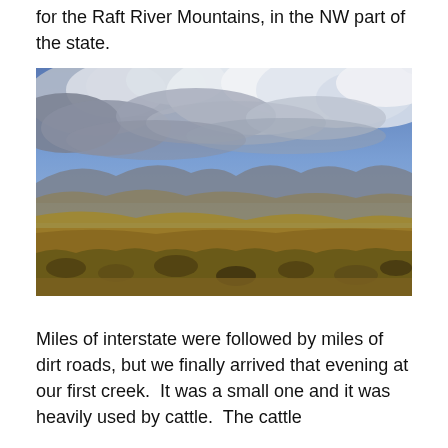for the Raft River Mountains, in the NW part of the state.
[Figure (photo): Wide landscape photograph of high desert terrain with rolling brown hills, sagebrush in the foreground, mountains in the background, and a dramatic cloudy sky with blue sky visible through the clouds.]
Miles of interstate were followed by miles of dirt roads, but we finally arrived that evening at our first creek.  It was a small one and it was heavily used by cattle.  The cattle